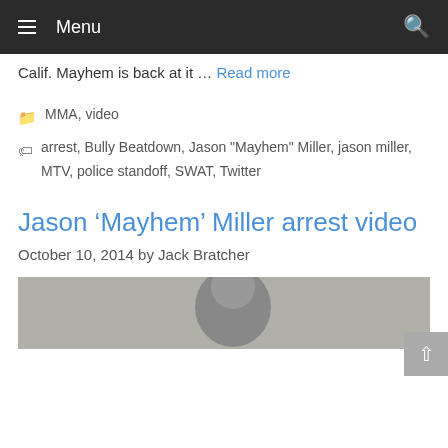Menu
Calif. Mayhem is back at it … Read more
MMA, video
arrest, Bully Beatdown, Jason "Mayhem" Miller, jason miller, MTV, police standoff, SWAT, Twitter
Jason ‘Mayhem’ Miller arrest video
October 10, 2014 by Jack Bratcher
[Figure (photo): Partial photo of a person, appears to be Jason Miller]